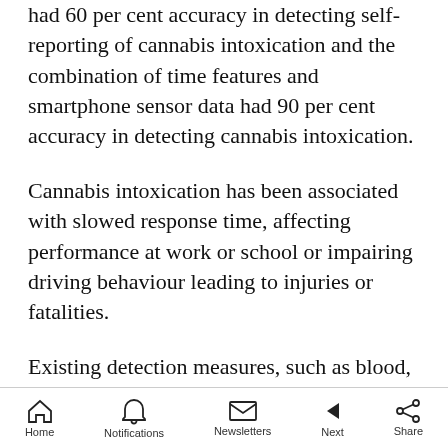had 60 per cent accuracy in detecting self-reporting of cannabis intoxication and the combination of time features and smartphone sensor data had 90 per cent accuracy in detecting cannabis intoxication.
Cannabis intoxication has been associated with slowed response time, affecting performance at work or school or impairing driving behaviour leading to injuries or fatalities.
Existing detection measures, such as blood, urine or saliva tests, have limitations as indicators of cannabis intoxication and cannabis-related
Home  Notifications  Newsletters  Next  Share